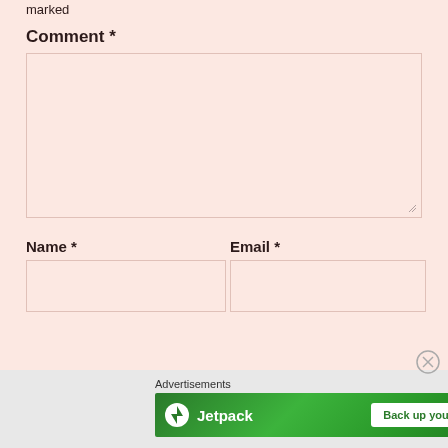marked
Comment *
Name *
Email *
[Figure (screenshot): Jetpack advertisement banner with 'Back up your site' button on green background]
Advertisements